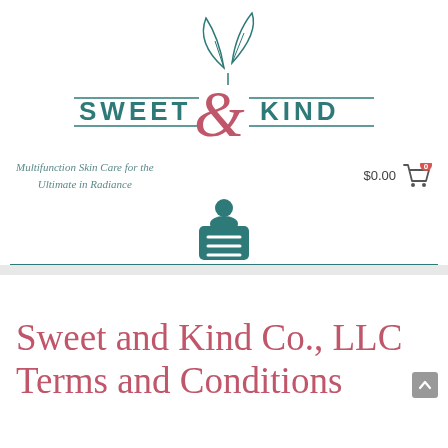[Figure (logo): Sweet & Kind logo with botanical leaf illustration above, teal and mauve/rose color scheme, text reads SWEET & KIND with decorative ampersand]
Multifunction Skin Care for the Ultimate in Radiance
$0.00 [cart icon with 0 badge]
[Figure (other): Teal user/account icon above a teal rounded rectangle menu/navigation button with three horizontal lines]
Sweet and Kind Co., LLC Terms and Conditions